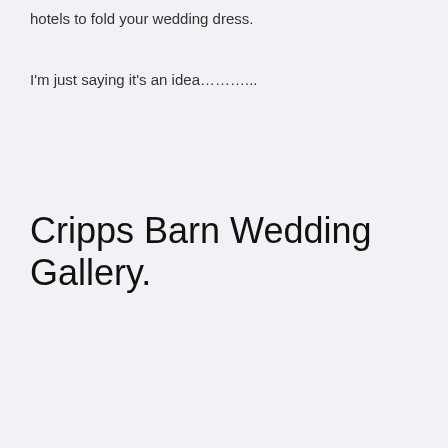hotels to fold your wedding dress.
I'm just saying it's an idea………..
Cripps Barn Wedding Gallery.